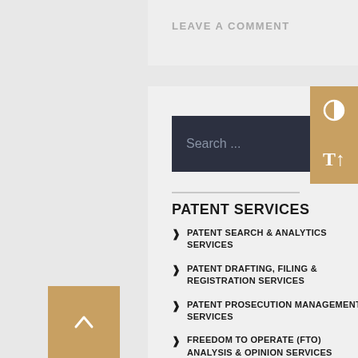LEAVE A COMMENT
[Figure (screenshot): Search bar with dark background, placeholder text 'Search ...' and magnifier icon]
PATENT SERVICES
PATENT SEARCH & ANALYTICS SERVICES
PATENT DRAFTING, FILING & REGISTRATION SERVICES
PATENT PROSECUTION MANAGEMENT SERVICES
FREEDOM TO OPERATE (FTO) ANALYSIS & OPINION SERVICES
PATENT INFINGMENT